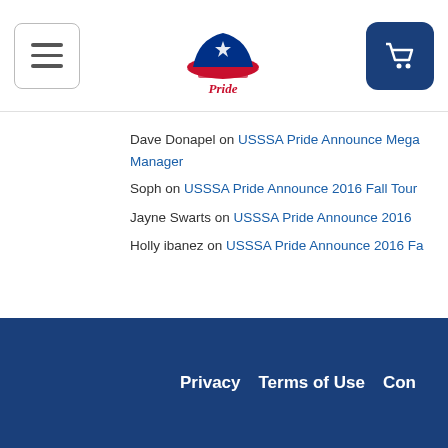USSSA Pride website header with hamburger menu, logo, and cart button
Dave Donapel on USSSA Pride Announce Mega Manager
Soph on USSSA Pride Announce 2016 Fall Tour
Jayne Swarts on USSSA Pride Announce 2016
Holly ibanez on USSSA Pride Announce 2016 Fa
Privacy  Terms of Use  Con